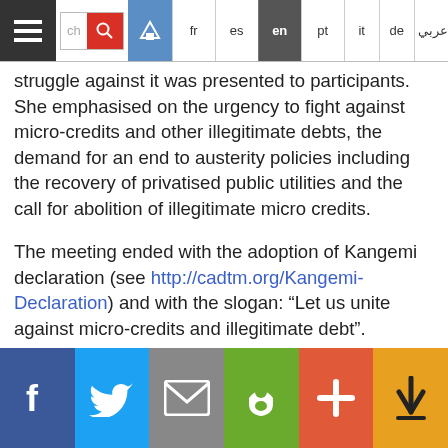Navigation bar with hamburger menu, search, home, fr, es, en (active), pt, it, de, Arabic
struggle against it was presented to participants. She emphasised on the urgency to fight against micro-credits and other illegitimate debts, the demand for an end to austerity policies including the recovery of privatised public utilities and the call for abolition of illegitimate micro credits.
The meeting ended with the adoption of Kangemi declaration (see http://cadtm.org/Kangemi-Declaration) and with the slogan: “Let us unite against micro-credits and illegitimate debt”.
[Figure (infographic): Row of social sharing icons: email, Facebook, print, Twitter]
Bottom social share bar: Facebook, Twitter, Email, Print, Plus, Push